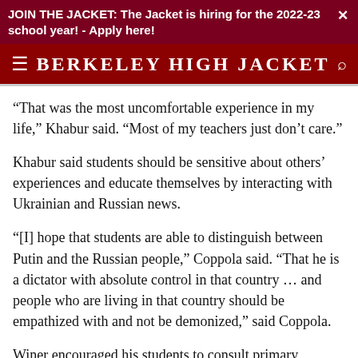JOIN THE JACKET: The Jacket is hiring for the 2022-23 school year! - Apply here!
BERKELEY HIGH JACKET
“That was the most uncomfortable experience in my life,” Khabur said. “Most of my teachers just don’t care.”
Khabur said students should be sensitive about others’ experiences and educate themselves by interacting with Ukrainian and Russian news.
“[I] hope that students are able to distinguish between Putin and the Russian people,” Coppola said. “That he is a dictator with absolute control in that country … and people who are living in that country should be empathized with and not be demonized,” said Coppola.
Winer encouraged his students to consult primary